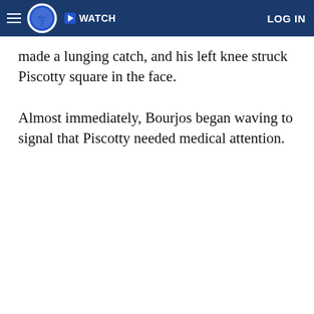ABC7 WATCH LOG IN
made a lunging catch, and his left knee struck Piscotty square in the face.
Almost immediately, Bourjos began waving to signal that Piscotty needed medical attention.